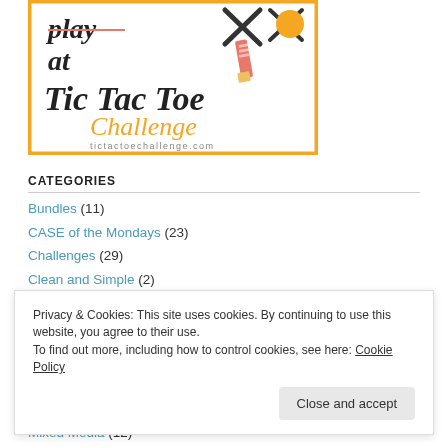[Figure (logo): Tic Tac Toe Challenge logo with decorative crafting icons and text 'play at Tic Tac Toe Challenge' and website tictactoechallenge.com]
CATEGORIES
Bundles (11)
CASE of the Mondays (23)
Challenges (29)
Clean and Simple (2)
Demonstrator (1)
Privacy & Cookies: This site uses cookies. By continuing to use this website, you agree to their use. To find out more, including how to control cookies, see here: Cookie Policy
Close and accept
Mixed Media (12)